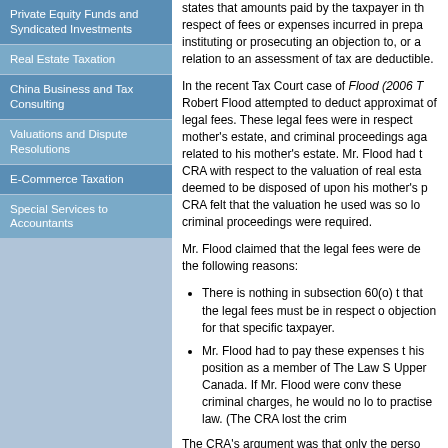Private Equity Funds and Syndicated Investments
Real Estate Taxation
China Business and Tax Consulting
Valuations and Dispute Resolutions
E-Commerce Taxation
Special Services to Accountants
states that amounts paid by the taxpayer in the respect of fees or expenses incurred in preparing, instituting or prosecuting an objection to, or a relation to an assessment of tax are deductible.
In the recent Tax Court case of Flood (2006 T... Robert Flood attempted to deduct approximate... of legal fees. These legal fees were in respect... mother's estate, and criminal proceedings aga... related to his mother's estate. Mr. Flood had t... CRA with respect to the valuation of real esta... deemed to be disposed of upon his mother's p... CRA felt that the valuation he used was so lo... criminal proceedings were required.
Mr. Flood claimed that the legal fees were de... the following reasons:
There is nothing in subsection 60(o) th... that the legal fees must be in respect o... objection for that specific taxpayer.
Mr. Flood had to pay these expenses te... his position as a member of The Law S... Upper Canada. If Mr. Flood were conv... these criminal charges, he would no lo... to practise law. (The CRA lost the crim...
The CRA's argument was that only the perso... objecting to the assessment can deduct the l...